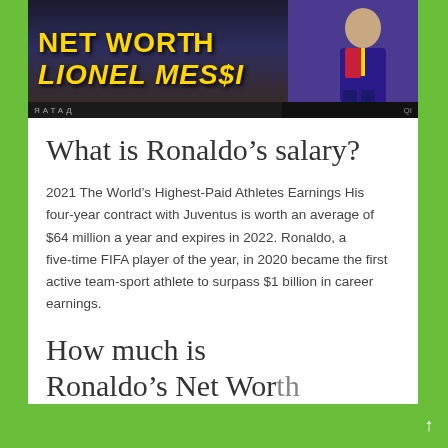[Figure (screenshot): YouTube thumbnail showing 'NET WORTH' text in yellow, YouTube play button icon, and 'LIONEL MESSI' text in yellow italic, with a person in a Barcelona football kit on the right side]
What is Ronaldo's salary?
2021 The World's Highest-Paid Athletes Earnings His four-year contract with Juventus is worth an average of $64 million a year and expires in 2022. Ronaldo, a five-time FIFA player of the year, in 2020 became the first active team-sport athlete to surpass $1 billion in career earnings.
How much is Ronaldo's Net Worth